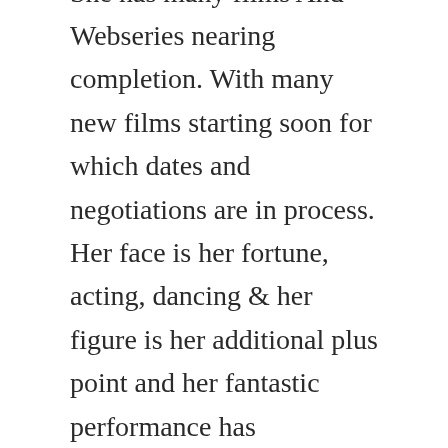She has many films And Webseries nearing completion. With many new films starting soon for which dates and negotiations are in process. Her face is her fortune, acting, dancing & her figure is her additional plus point and her fantastic performance has